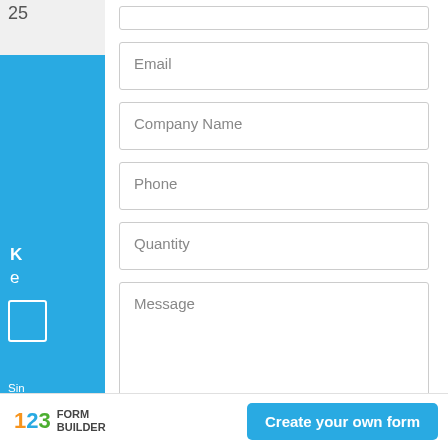[Figure (screenshot): Web contact form with fields: Email, Company Name, Phone, Quantity, Message (textarea), a green Submit button, a disclaimer note, and a 123 Form Builder branded footer with a 'Create your own form' button. Left side shows a partial blue sidebar.]
Email
Company Name
Phone
Quantity
Message
Submit
Never submit sensitive information such as passwords.
123 FORM BUILDER
Create your own form